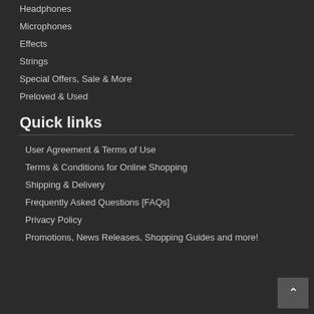Headphones
Microphones
Effects
Strings
Special Offers, Sale & More
Preloved & Used
Quick links
User Agreement & Terms of Use
Terms & Conditions for Online Shopping
Shipping & Delivery
Frequently Asked Questions [FAQs]
Privacy Policy
Promotions, News Releases, Shopping Guides and more!